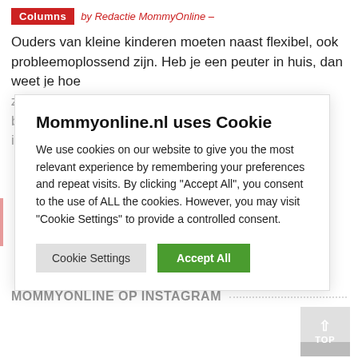Columns by Redactie MommyOnline -
Ouders van kleine kinderen moeten naast flexibel, ook probleemoplossend zijn. Heb je een peuter in huis, dan weet je hoe zwak hun blaasje nog is en dat zij niet lang hun behoeftes kunnen i
[Figure (screenshot): Cookie consent modal: title 'Mommyonline.nl uses Cookie', body text about cookie usage, two buttons: 'Cookie Settings' (grey) and 'Accept All' (green)]
MOMMYONLINE OP INSTAGRAM